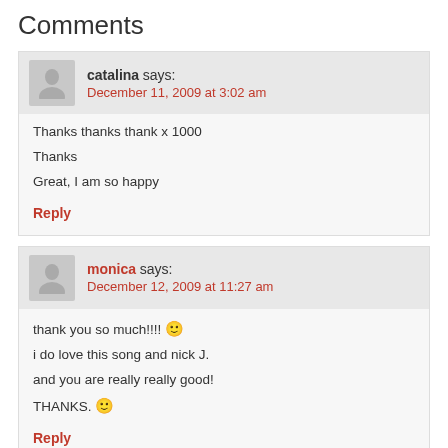Comments
catalina says:
December 11, 2009 at 3:02 am

Thanks thanks thank x 1000

Thanks

Great, I am so happy

Reply
monica says:
December 12, 2009 at 11:27 am

thank you so much!!!! 🙂
i do love this song and nick J.
and you are really really good!
THANKS. 🙂

Reply